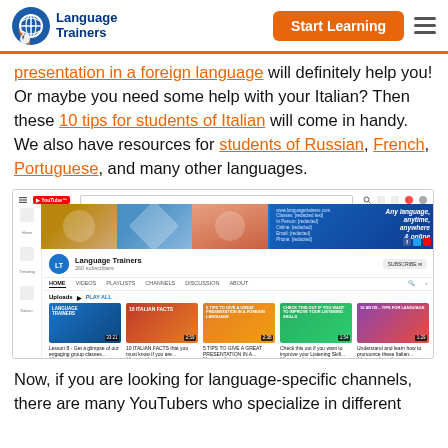Language Trainers | Start Learning
presentation in a foreign language will definitely help you! Or maybe you need some help with your Italian? Then these 10 tips for students of Italian will come in handy. We also have resources for students of Russian, French, Portuguese, and many other languages.
[Figure (screenshot): Screenshot of Language Trainers YouTube channel page showing channel banner, avatar, navigation tabs (HOME, VIDEOS, PLAYLISTS, CHANNELS, DISCUSSION, ABOUT), and Uploads section with 5 video thumbnails including '10 ITALIAN FACTS', '5 TIPS TO GIVE A GREAT PRESENTATION IN A FOREIGN LANGUAGE', and others.]
Now, if you are looking for language-specific channels, there are many YouTubers who specialize in different